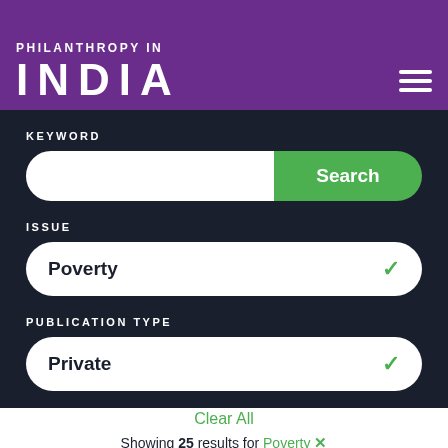PHILANTHROPY IN INDIA
KEYWORD
[Figure (screenshot): Search input field with green Search button]
ISSUE
[Figure (screenshot): Dropdown selector showing Poverty]
PUBLICATION TYPE
[Figure (screenshot): Dropdown selector showing Private]
Clear All
Showing 25 results for Poverty ✕
Sort By   Title ✓